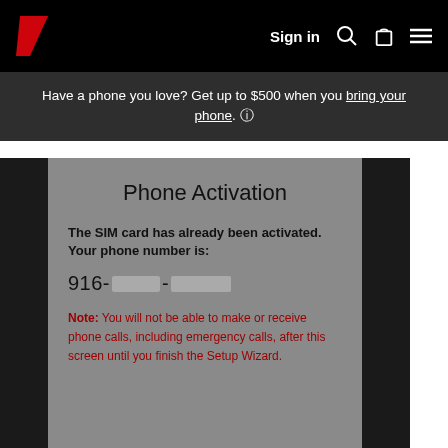Sign in
Have a phone you love? Get up to $500 when you bring your phone. ⓘ
[Figure (screenshot): Phone Activation screen showing: 'The SIM card has already been activated. Your phone number is: 916-[redacted]-[redacted]' and a red warning note: 'Note: You will not be able to make or receive phone calls, including emergency calls, after this screen until you finish the Setup Wizard.']
Smart Setup | Apple to Android Guide